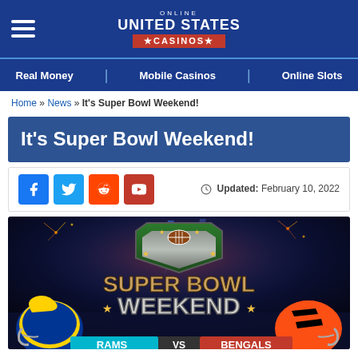ONLINE UNITED STATES CASINOS
Real Money | Mobile Casinos | Online Slots
Home » News » It's Super Bowl Weekend!
It's Super Bowl Weekend!
Updated: February 10, 2022
[Figure (photo): Super Bowl Weekend promotional image showing the Rams vs Bengals matchup, with football helmets, fireworks, and a shield badge reading SUPER BOWL WEEKEND. Bottom labels show RAMS VS BENGALS.]